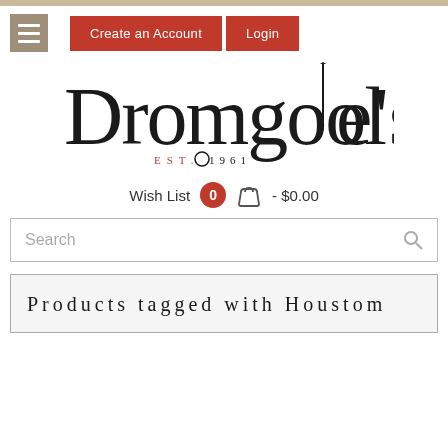Create an Account   Login
[Figure (logo): Dromgoole's EST. 1961 logo with fountain pen illustration]
Wish List  0  - $0.00
Search
Products tagged with Houstom